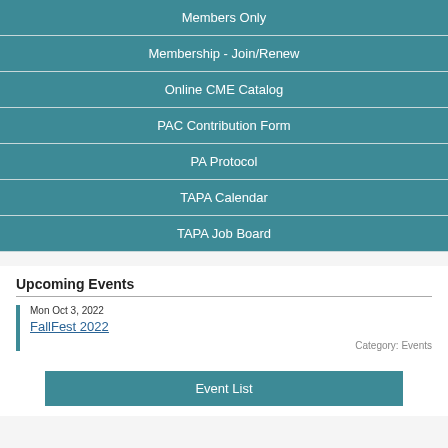Members Only
Membership - Join/Renew
Online CME Catalog
PAC Contribution Form
PA Protocol
TAPA Calendar
TAPA Job Board
Upcoming Events
Mon Oct 3, 2022
FallFest 2022
Category: Events
Event List